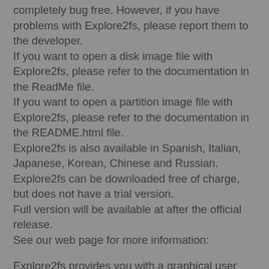completely bug free. However, if you have problems with Explore2fs, please report them to the developer. If you want to open a disk image file with Explore2fs, please refer to the documentation in the ReadMe file. If you want to open a partition image file with Explore2fs, please refer to the documentation in the README.html file. Explore2fs is also available in Spanish, Italian, Japanese, Korean, Chinese and Russian. Explore2fs can be downloaded free of charge, but does not have a trial version. Full version will be available at after the official release. See our web page for more information: Explore2fs provides you with a graphical user interface to access Linux hard disk partitions directly from Windows. It comes with support for